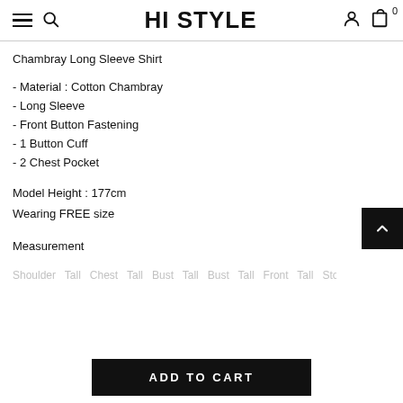HI STYLE
Chambray Long Sleeve Shirt
- Material : Cotton Chambray
- Long Sleeve
- Front Button Fastening
- 1 Button Cuff
- 2 Chest Pocket
Model Height : 177cm
Wearing FREE size
Measurement